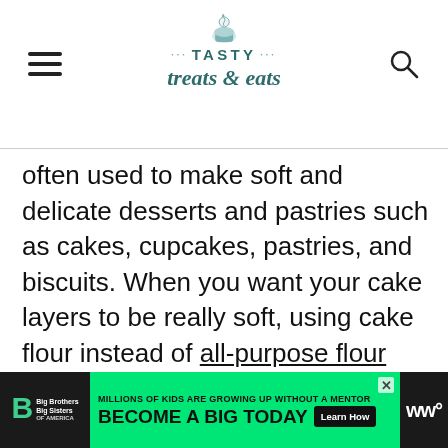TASTY treats & eats
often used to make soft and delicate desserts and pastries such as cakes, cupcakes, pastries, and biscuits. When you want your cake layers to be really soft, using cake flour instead of all-purpose flour does the trick. People also sometimes use a combination of both flours when the recipe calls for it.
Common Questions
[Figure (other): Advertisement banner: Big Brothers Big Sisters — MILLIONS OF KIDS ARE GROWING UP WITHOUT A MENTOR. BECOME A BIG TODAY. Learn How button.]